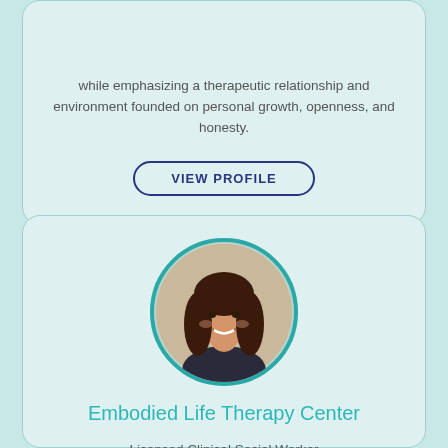while emphasizing a therapeutic relationship and environment founded on personal growth, openness, and honesty.
VIEW PROFILE
[Figure (photo): Circular profile photo of a woman with long dark hair, smiling, with a teal/dark blue circular border.]
Embodied Life Therapy Center
Licensed Clinical Social Worker
LCSW
Utilizing an integrative approach, I specialize in